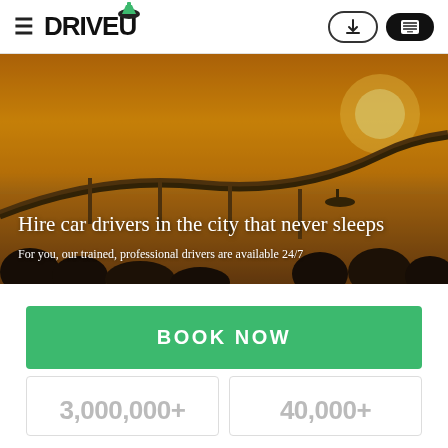[Figure (logo): DriveU logo with hat icon and hamburger menu on the left, download and phone buttons on the right]
[Figure (photo): Aerial photo of a curved sea-link bridge at sunset with golden/amber sky and silhouetted trees in foreground]
Hire car drivers in the city that never sleeps
For you, our trained, professional drivers are available 24/7
BOOK NOW
3,000,000+
40,000+